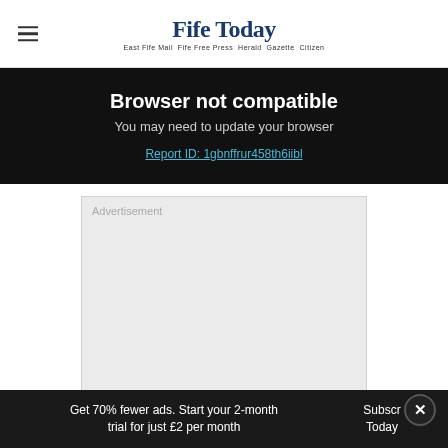Fife Today | East Fife Mail Fife Free Press Herald Gazette Citizen
Browser not compatible
You may need to update your browser
Report ID: 1gbnffrur458th6iibl
[Figure (other): Advertisement placeholder box (grey background)]
[Figure (other): Walgreens advertisement banner: Shop Walgreens Today, Walgreens Photo]
Get 70% fewer ads. Start your 2-month trial for just £2 per month
Subscr Today